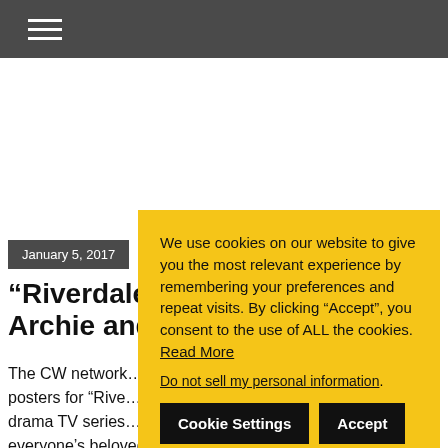Navigation menu (hamburger icon)
January 5, 2017
“Riverdale” re… Archie and fri…
The CW network… posters for “Rive… drama TV series… everyone’s beloved […]
We use cookies on our website to give you the most relevant experience by remembering your preferences and repeat visits. By clicking “Accept”, you consent to the use of ALL the cookies. Read More
Do not sell my personal information.
Cookie Settings   Accept